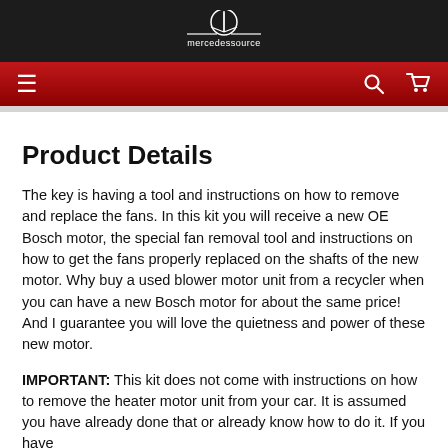mercedessource
Product Details
The key is having a tool and instructions on how to remove and replace the fans. In this kit you will receive a new OE Bosch motor, the special fan removal tool and instructions on how to get the fans properly replaced on the shafts of the new motor. Why buy a used blower motor unit from a recycler when you can have a new Bosch motor for about the same price! And I guarantee you will love the quietness and power of these new motor.
IMPORTANT: This kit does not come with instructions on how to remove the heater motor unit from your car. It is assumed you have already done that or already know how to do it. If you have